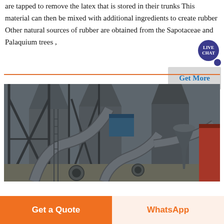are tapped to remove the latex that is stored in their trunks This material can then be mixed with additional ingredients to create rubber Other natural sources of rubber are obtained from the Sapotaceae and Palaquium trees ,
[Figure (other): Industrial machinery photograph showing large metal pipes, conveyor structures, silos and processing equipment at an industrial facility]
Get More
LIVE CHAT
Get a Quote
WhatsApp